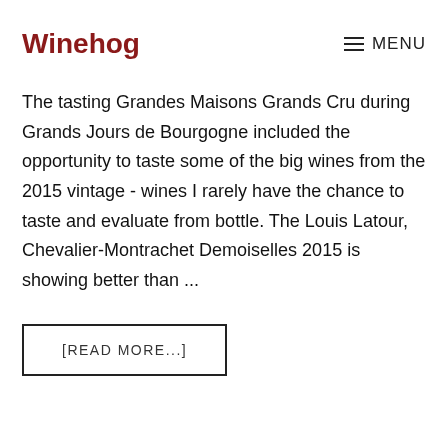Winehog   ☰ MENU
The tasting Grandes Maisons Grands Cru during Grands Jours de Bourgogne included the opportunity to taste some of the big wines from the 2015 vintage - wines I rarely have the chance to taste and evaluate from bottle. The Louis Latour, Chevalier-Montrachet Demoiselles 2015 is showing better than ...
[READ MORE...]